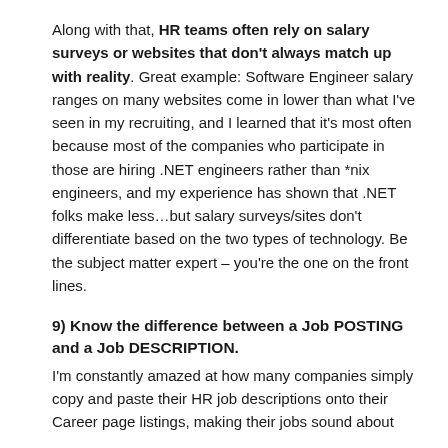Along with that, HR teams often rely on salary surveys or websites that don't always match up with reality. Great example: Software Engineer salary ranges on many websites come in lower than what I've seen in my recruiting, and I learned that it's most often because most of the companies who participate in those are hiring .NET engineers rather than *nix engineers, and my experience has shown that .NET folks make less…but salary surveys/sites don't differentiate based on the two types of technology. Be the subject matter expert – you're the one on the front lines.
9) Know the difference between a Job POSTING and a Job DESCRIPTION.
I'm constantly amazed at how many companies simply copy and paste their HR job descriptions onto their Career page listings, making their jobs sound about…